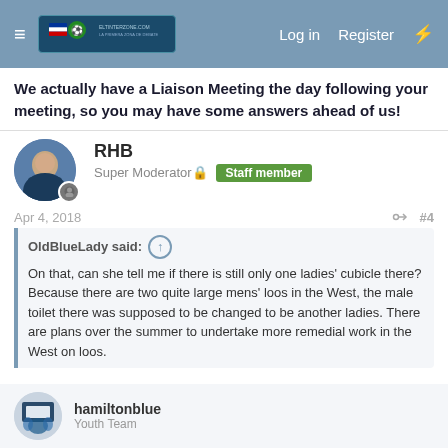≡ [logo] Log in Register ⚡
We actually have a Liaison Meeting the day following your meeting, so you may have some answers ahead of us!
RHB
Super Moderator🔒 Staff member
Apr 4, 2018 #4
OldBlueLady said: ↑
On that, can she tell me if there is still only one ladies' cubicle there? Because there are two quite large mens' loos in the West, the male toilet there was supposed to be changed to be another ladies. There are plans over the summer to undertake more remedial work in the West on loos.
Both of the toilets are now female cubicles, plus one disabled one. As far as she is aware only one has a broken seat.
hamiltonblue
Youth Team